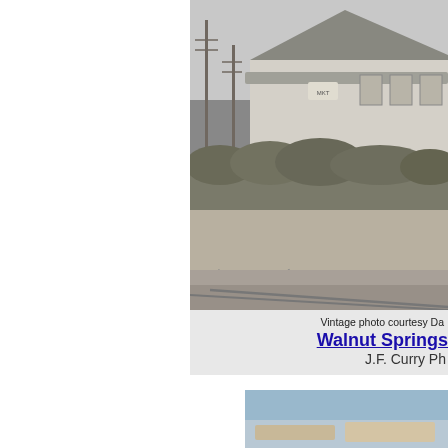[Figure (photo): Vintage black and white photograph of a railroad depot building labeled 'Walnut Springs, Texas' with a sign on the front. Utility poles and rail tracks visible in the foreground. Overgrown vegetation around the building.]
Vintage photo courtesy Da
Walnut Springs
J.F. Curry Ph
[Figure (photo): Partial color photograph visible at bottom of page, appears to show a light blue sky or outdoor scene.]